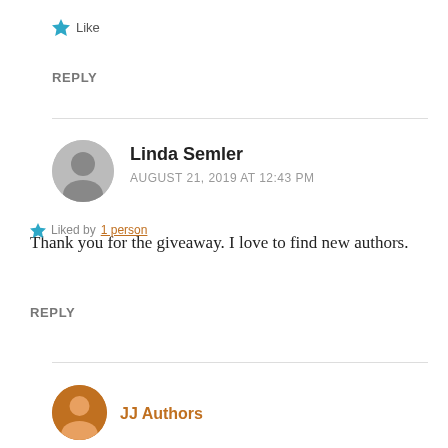Like
REPLY
Linda Semler
AUGUST 21, 2019 AT 12:43 PM
Thank you for the giveaway. I love to find new authors.
Liked by 1 person
REPLY